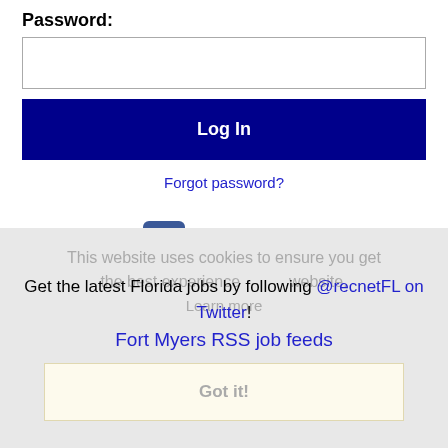Password:
[Figure (screenshot): Empty password input text field with light gray border]
Log In
Forgot password?
[Figure (logo): Facebook logo icon (blue square with white f) and LinkedIn logo (Linked with blue 'in' box and registered symbol)]
Get the latest Florida jobs by following @recnetFL on Twitter!
Fort Myers RSS job feeds
Got it!